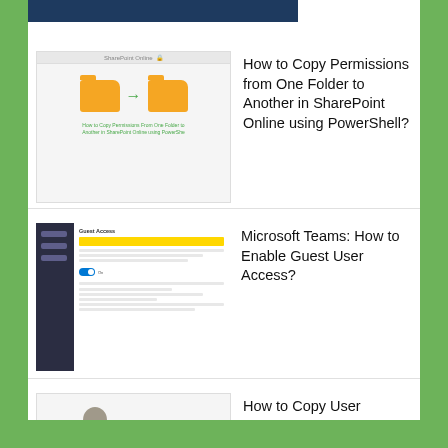[Figure (screenshot): Dark blue terminal/command prompt screenshot thumbnail at top]
[Figure (screenshot): SharePoint Online folder copy permissions illustration with two folder icons and green arrow]
How to Copy Permissions from One Folder to Another in SharePoint Online using PowerShell?
[Figure (screenshot): Microsoft Teams guest access settings panel screenshot]
Microsoft Teams: How to Enable Guest User Access?
[Figure (illustration): SharePoint user permissions illustration with businessman figure and SharePoint logo]
How to Copy User Permissions in SharePoint Online using PowerShell?
How to Bulk Invite Guest Users to Azure AD?